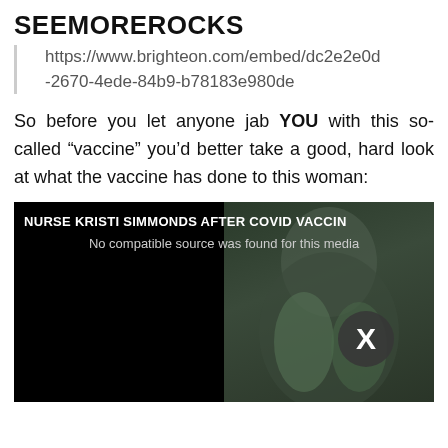SEEMOREROCKS
https://www.brighteon.com/embed/dc2e2e0d-2670-4ede-84b9-b78183e980de
So before you let anyone jab YOU with this so-called “vaccine” you’d better take a good, hard look at what the vaccine has done to this woman:
[Figure (screenshot): Video player screenshot showing 'NURSE KRISTI SIMMONDS AFTER COVID VACCIN...' with 'No compatible source was found for this media' error message. Right half shows a dark video frame with a person and an X button overlay indicating video cannot play.]